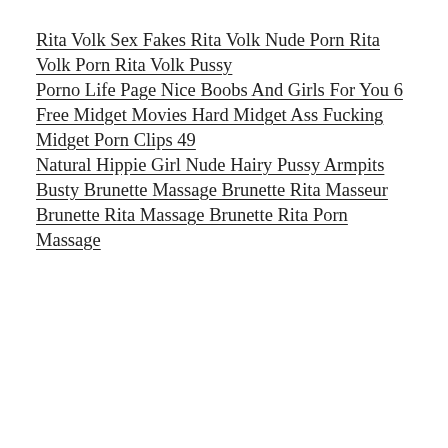Rita Volk Sex Fakes Rita Volk Nude Porn Rita Volk Porn Rita Volk Pussy
Porno Life Page Nice Boobs And Girls For You 6
Free Midget Movies Hard Midget Ass Fucking Midget Porn Clips 49
Natural Hippie Girl Nude Hairy Pussy Armpits
Busty Brunette Massage Brunette Rita Masseur Brunette Rita Massage Brunette Rita Porn Massage